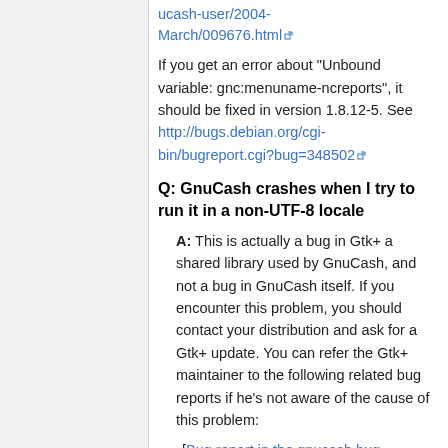ucash-user/2004-March/009676.html [external link]
If you get an error about "Unbound variable: gnc:menuname-ncreports", it should be fixed in version 1.8.12-5. See http://bugs.debian.org/cgi-bin/bugreport.cgi?bug=348502 [external link]
Q: GnuCash crashes when I try to run it in a non-UTF-8 locale
A: This is actually a bug in Gtk+ a shared library used by GnuCash, and not a bug in GnuCash itself. If you encounter this problem, you should contact your distribution and ask for a Gtk+ update. You can refer the Gtk+ maintainer to the following related bug reports if he's not aware of the cause of this problem:
[Bug report in the gnucash bug